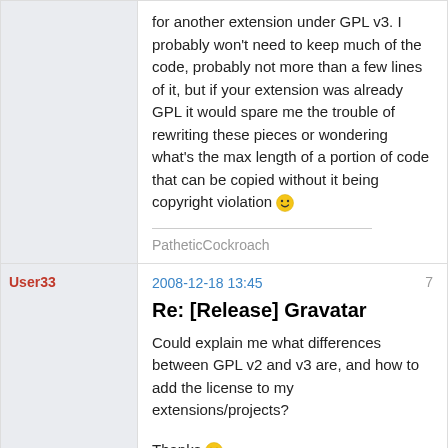for another extension under GPL v3. I probably won't need to keep much of the code, probably not more than a few lines of it, but if your extension was already GPL it would spare me the trouble of rewriting these pieces or wondering what's the max length of a portion of code that can be copied without it being copyright violation 🙂
PatheticCockroach
User33
2008-12-18 13:45
7
Re: [Release] Gravatar
Could explain me what differences between GPL v2 and v3 are, and how to add the license to my extensions/projects?
Thanks 🙂